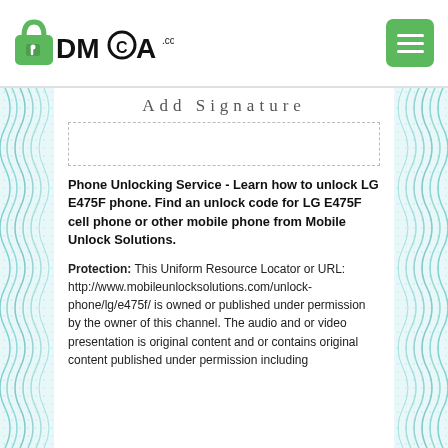DMCA.com logo and menu button
Add Signature
Phone Unlocking Service - Learn how to unlock LG E475F phone. Find an unlock code for LG E475F cell phone or other mobile phone from Mobile Unlock Solutions.
Protection: This Uniform Resource Locator or URL: http://www.mobileunlocksolutions.com/unlock-phone/lg/e475f/ is owned or published under permission by the owner of this channel. The audio and or video presentation is original content and or contains original content published under permission including